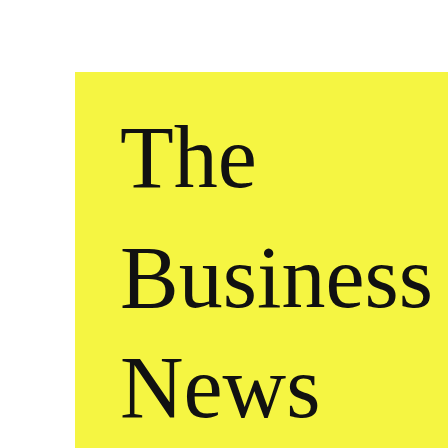[Figure (illustration): Yellow speech bubble logo containing the text 'The Business News blog' with RSS and search icons and a black bar beneath]
Make
In Ord
Learn
TAGS
affiliate percentage com money on millionaire inc online mal doing money shoppin moneyma to start a million online the goo
← PREVIO